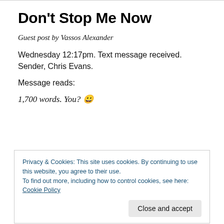Don't Stop Me Now
Guest post by Vassos Alexander
Wednesday 12:17pm. Text message received. Sender, Chris Evans.
Message reads:
1,700 words. You? 😀
Privacy & Cookies: This site uses cookies. By continuing to use this website, you agree to their use.
To find out more, including how to control cookies, see here: Cookie Policy
Close and accept